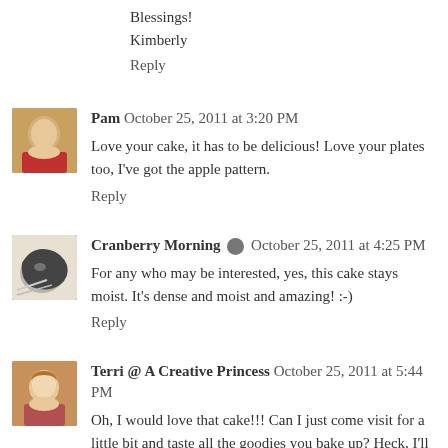Blessings!
Kimberly
Reply
Pam  October 25, 2011 at 3:20 PM
Love your cake, it has to be delicious! Love your plates too, I've got the apple pattern.
Reply
Cranberry Morning  October 25, 2011 at 4:25 PM
For any who may be interested, yes, this cake stays moist. It's dense and moist and amazing! :-)
Reply
Terri @ A Creative Princess  October 25, 2011 at 5:44 PM
Oh, I would love that cake!!! Can I just come visit for a little bit and taste all the goodies you bake up? Heck, I'll even